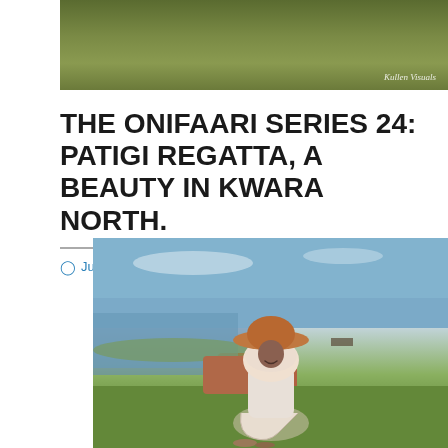[Figure (photo): Group photo of women sitting on grass outdoors, photographed by Kullen Visuals]
THE ONIFAARI SERIES 24: PATIGI REGATTA, A BEAUTY IN KWARA NORTH.
July 12, 2020   Ajokeonifaari
[Figure (photo): Woman in white hijab and orange/brown wide-brim hat sitting on green grass near a body of water with reddish-brown cliffs in the background, smiling at camera]